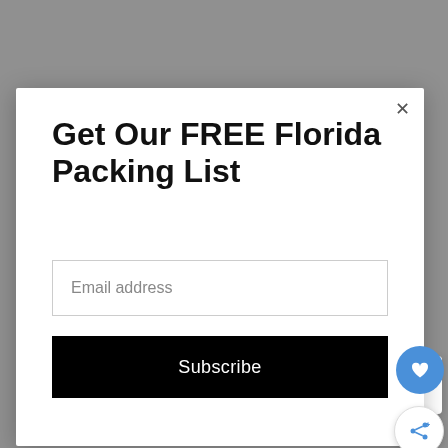[Figure (screenshot): Screenshot of a website popup modal with gray background overlay. Modal contains 'Get Our FREE Florida Packing List' title, an email address input field, and a black Subscribe button. A blue heart icon button and a share icon button are visible on the right edge of the modal. A 'What's Next' widget is visible in the bottom right showing '12 Best Places To See Wild...' At the bottom, partially visible text reads 'While alligators are the largest reptiles']